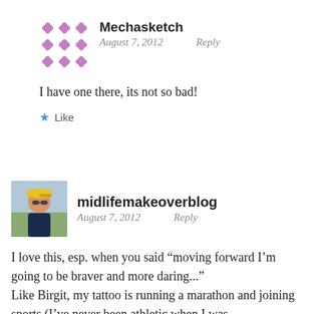[Figure (illustration): Purple geometric avatar icon with diamond/flower pattern for user Mechasketch]
Mechasketch
August 7, 2012   Reply
I have one there, its not so bad!
★ Like
[Figure (photo): Profile photo of midlifemakeoverblog user, person wearing yellow cap and sunglasses]
midlifemakeoverblog
August 7, 2012   Reply
I love this, esp. when you said “moving forward I’m going to be braver and more daring...”
Like Birgit, my tattoo is running a marathon and joining sports (I’ve never been athletic when I was